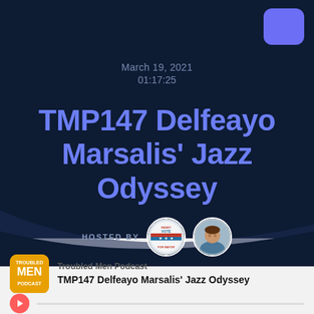March 19, 2021
01:17:25
TMP147 Delfeayo Marsalis' Jazz Odyssey
HOSTED BY
[Figure (photo): Two circular host avatar photos next to 'HOSTED BY' label]
Troubled Men Podcast
TMP147 Delfeayo Marsalis' Jazz Odyssey